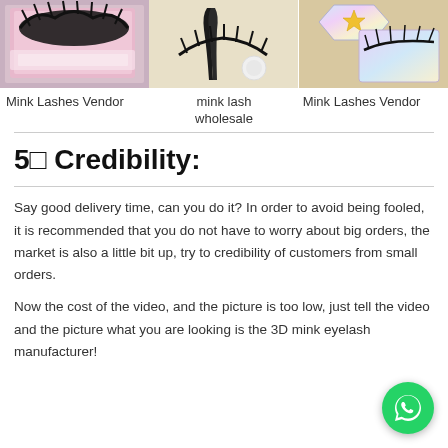[Figure (photo): Three product photos side by side: left shows mink lashes in a pink box, center shows a mink lash applicator/lash on a cream background, right shows holographic star-shaped packaging with mink lashes on a yellow background.]
Mink Lashes Vendor
mink lash wholesale
Mink Lashes Vendor
5□ Credibility:
Say good delivery time, can you do it? In order to avoid being fooled, it is recommended that you do not have to worry about big orders, the market is also a little bit up, try to credibility of customers from small orders.
Now the cost of the video, and the picture is too low, just tell the video and the picture what you are looking is the 3D mink eyelash manufacturer!